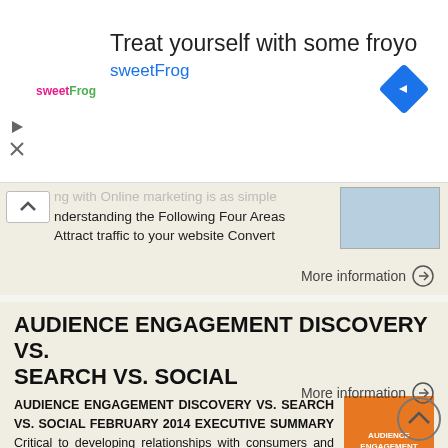[Figure (screenshot): Ad banner for sweetFrog frozen yogurt: logo on left, headline 'Treat yourself with some froyo', subtext 'sweetFrog', blue diamond navigation icon on right]
nderstanding the Following Four Areas Attract traffic to your website Convert
More information →
AUDIENCE ENGAGEMENT DISCOVERY VS. SEARCH VS. SOCIAL
AUDIENCE ENGAGEMENT DISCOVERY VS. SEARCH VS. SOCIAL FEBRUARY 2014 EXECUTIVE SUMMARY Critical to developing relationships with consumers and audiences on the web is the ability to engage them beyond a mere
More information →